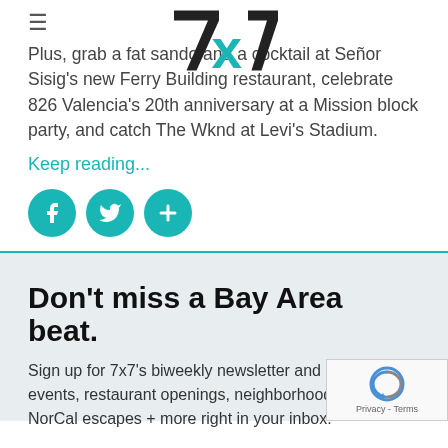7x7 logo with hamburger menu
Plus, grab a fat sando and a cocktail at Señor Sisig's new Ferry Building restaurant, celebrate 826 Valencia's 20th anniversary at a Mission block party, and catch The Wknd at Levi's Stadium.
Keep reading...
[Figure (infographic): Three teal circular social share buttons: Facebook (f), Twitter (bird), and plus (+) icons]
Don't miss a Bay Area beat.
Sign up for 7x7's biweekly newsletter and get the best events, restaurant openings, neighborhood guides, NorCal escapes + more right in your inbox.